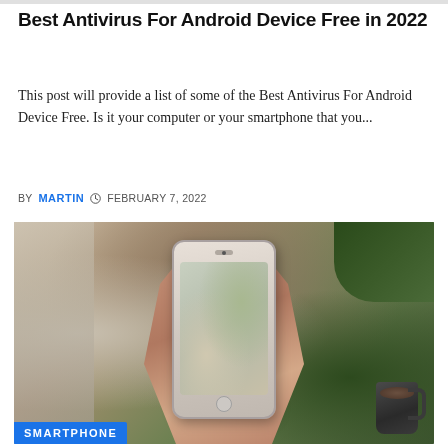Best Antivirus For Android Device Free in 2022
This post will provide a list of some of the Best Antivirus For Android Device Free. Is it your computer or your smartphone that you...
BY MARTIN  FEBRUARY 7, 2022
[Figure (photo): Person holding a smartphone displaying a cozy flat-lay photo with books, candles, Christmas decorations, and a coffee mug. A dark mug of coffee is visible in the background to the right. A 'SMARTPHONE' label appears at the bottom left.]